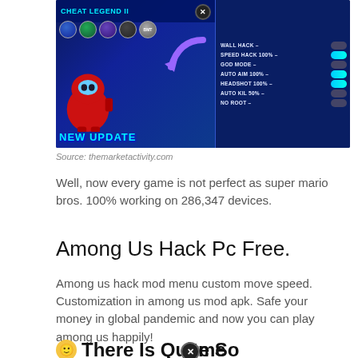[Figure (screenshot): Screenshot of a mobile game cheat/hack menu showing Among Us character with hack options: WALL HACK, SPEED HACK 100%, GOD MODE, AUTO AIM 100%, HEADSHOT 100%, AUTO KIL 50%, NO ROOT with toggle switches, and 'NEW UPDATE' text. Title bar reads 'CHEAT LEGEND II'.]
Source: themarketactivity.com
Well, now every game is not perfect as super mario bros. 100% working on 286,347 devices.
Among Us Hack Pc Free.
Among us hack mod menu custom move speed. Customization in among us mod apk. Safe your money in global pandemic and now you can play among us happily!
🙂 There Is Quite Some Customization In